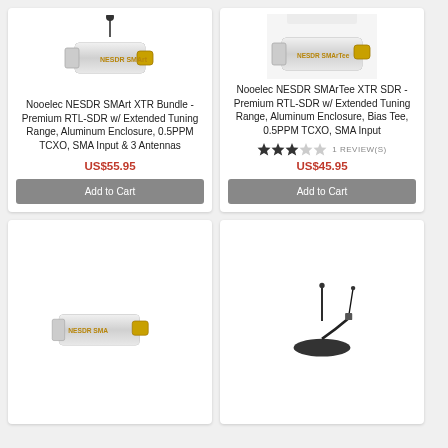[Figure (photo): Nooelec NESDR SMArt XTR USB dongle with antenna]
Nooelec NESDR SMArt XTR Bundle - Premium RTL-SDR w/ Extended Tuning Range, Aluminum Enclosure, 0.5PPM TCXO, SMA Input & 3 Antennas
US$55.95
Add to Cart
[Figure (photo): Nooelec NESDR SMArTee XTR SDR product image (top portion partially visible)]
Nooelec NESDR SMArTee XTR SDR - Premium RTL-SDR w/ Extended Tuning Range, Aluminum Enclosure, Bias Tee, 0.5PPM TCXO, SMA Input
1 REVIEW(S)
US$45.95
Add to Cart
[Figure (photo): Nooelec NESDR SDR USB dongle product image (bottom left card)]
[Figure (photo): Antennas product image (bottom right card)]